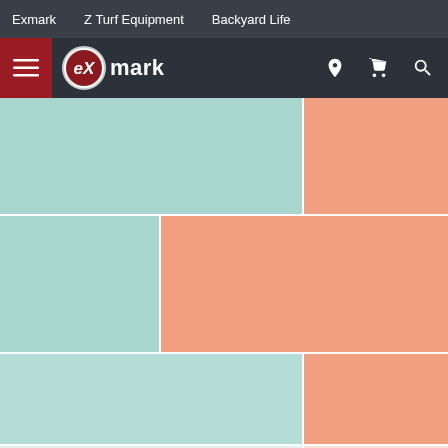Exmark | Z Turf Equipment | Backyard Life
[Figure (screenshot): Exmark website header with hamburger menu, Exmark logo, location pin icon, shopping cart icon, and search icon on dark background]
[Figure (illustration): Photo grid placeholder with alternating teal and salmon/coral colored blocks arranged in 4 rows, representing product photos. A 'Show more photos' button with blue circle icon appears below the grid.]
Show more photos
Ask Exmark
Review Snapshot by PowerReviews